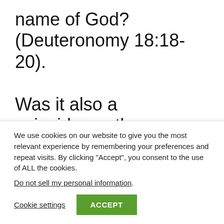name of God? (Deuteronomy 18:18-20). Was it also a coincidence the “Paraclete” that Jesus foretold to come after him was described as one who “shall not speak of himself…”
We use cookies on our website to give you the most relevant experience by remembering your preferences and repeat visits. By clicking “Accept”, you consent to the use of ALL the cookies.
Do not sell my personal information.
Cookie settings
ACCEPT